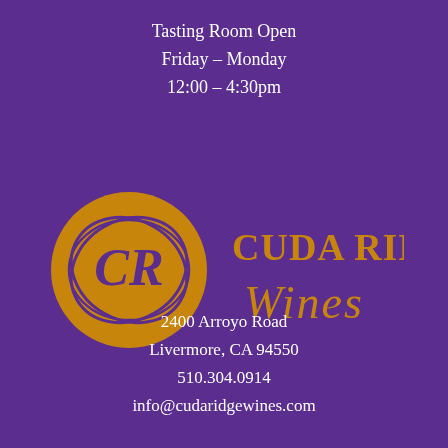Tasting Room Open
Friday – Monday
12:00 – 4:30pm
[Figure (logo): Cuda Ridge Wines logo: a golden/amber circle with cursive CR monogram on the left, and 'Cuda Ridge Wines' text in gold serif and script on the right, on a purple background.]
2400 Arroyo Road
Livermore, CA 94550
510.304.0914
info@cudaridgewines.com